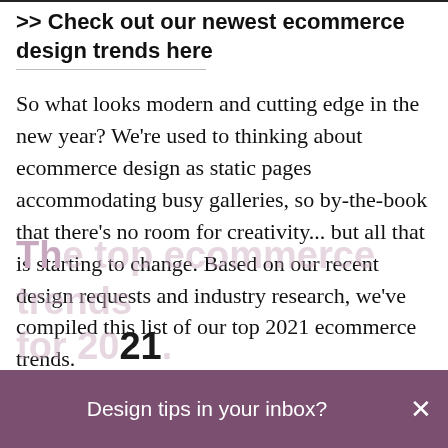>> Check out our newest ecommerce design trends here
So what looks modern and cutting edge in the new year? We're used to thinking about ecommerce design as static pages accommodating busy galleries, so by-the-book that there's no room for creativity... but all that is starting to change. Based on our recent design requests and industry research, we've compiled this list of our top 2021 ecommerce trends.
The top ecommerce trends for 2021.
Design tips in your inbox?